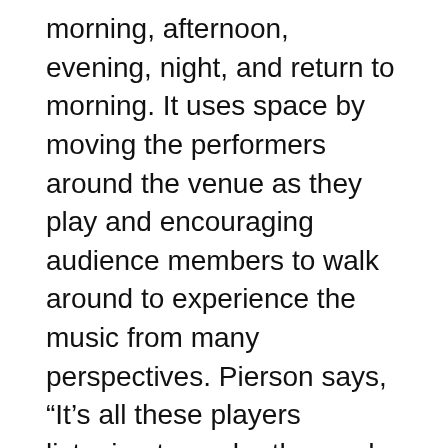morning, afternoon, evening, night, and return to morning. It uses space by moving the performers around the venue as they play and encouraging audience members to walk around to experience the music from many perspectives. Pierson says, “It’s all these players listening to each other and having dialogue with each other across space in a really spontaneous way. That is like what birds do in the wild.”
These performances mark the gradual re-emergence of ensembles to live performance, as well as the careful reopening of live music venues. Open-air theaters are the ideal way to move